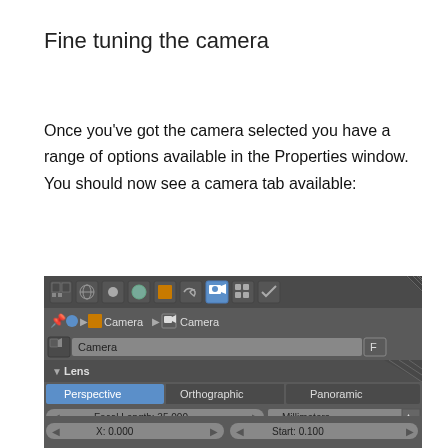Fine tuning the camera
Once you've got the camera selected you have a range of options available in the Properties window.  You should now see a camera tab available:
[Figure (screenshot): Blender 3D Properties panel showing Camera tab with Lens section. Toolbar at top with various icons including camera icon highlighted. Breadcrumb shows Camera > Camera. Name field shows 'Camera' with F button. Lens section expanded showing Perspective/Orthographic/Panoramic buttons (Perspective selected/highlighted blue). Focal Length: 35.000 with Millimeters dropdown. Shift and Clipping labels visible. X: 0.000 and Start: 0.100 fields at bottom.]